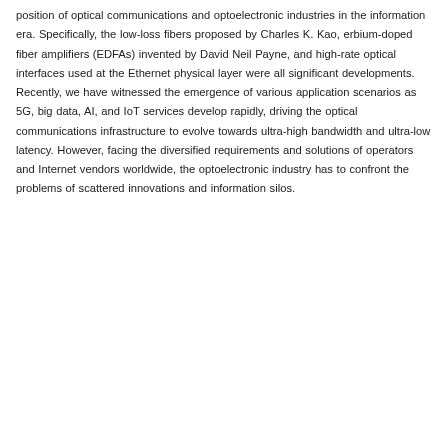position of optical communications and optoelectronic industries in the information era. Specifically, the low-loss fibers proposed by Charles K. Kao, erbium-doped fiber amplifiers (EDFAs) invented by David Neil Payne, and high-rate optical interfaces used at the Ethernet physical layer were all significant developments. Recently, we have witnessed the emergence of various application scenarios as 5G, big data, AI, and IoT services develop rapidly, driving the optical communications infrastructure to evolve towards ultra-high bandwidth and ultra-low latency. However, facing the diversified requirements and solutions of operators and Internet vendors worldwide, the optoelectronic industry has to confront the problems of scattered innovations and information silos.